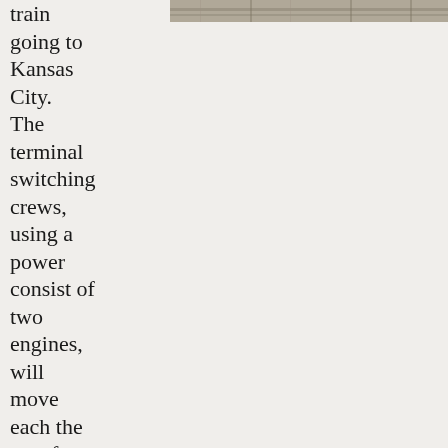[Figure (photo): Partial photograph of railroad tracks, showing a top strip of the image across the upper right portion of the page.]
train going to Kansas City. The terminal switching crews, using a power consist of two engines, will move each the cars from the inbound tracks onto each of the assigned tracks until each train is